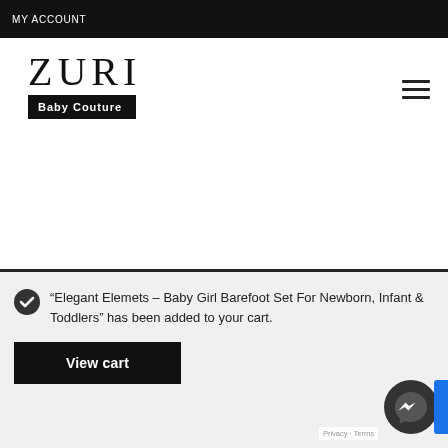MY ACCOUNT
[Figure (logo): ZURI Baby Couture logo with large serif text ZURI above a black bar reading Baby Couture]
"Elegant Elemets – Baby Girl Barefoot Set For Newborn, Infant & Toddlers" has been added to your cart.
View cart